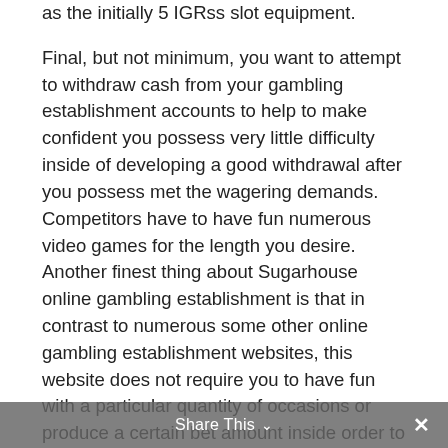as the initially 5 IGRss slot equipment.
Final, but not minimum, you want to attempt to withdraw cash from your gambling establishment accounts to help to make confident you possess very little difficulty inside of developing a good withdrawal after you possess met the wagering demands. Competitors have to have fun numerous video games for the length you desire. Another finest thing about Sugarhouse online gambling establishment is that in contrast to numerous some other online gambling establishment websites, this website does not require you to have fun with a particular quantity of occasions or produce a certain bet amount inside order to be in a position to promise the benefit praise.
Share This ∨  ✕